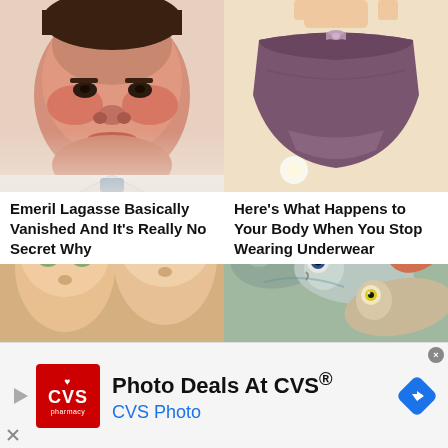[Figure (photo): Close-up photo of a man's face (Emeril Lagasse), red-faced, wearing white shirt]
[Figure (photo): Photo of purple/dark mauve women's bikini underwear on a light beige background]
Emeril Lagasse Basically Vanished And It's Really No Secret Why
Here's What Happens to Your Body When You Stop Wearing Underwear
[Figure (photo): Close-up photo of two women's faces side by side, both blonde]
[Figure (photo): Photo of several whole fresh fish piled together, showing their heads and eyes]
[Figure (logo): CVS Pharmacy logo in red square]
Photo Deals At CVS®
CVS Photo